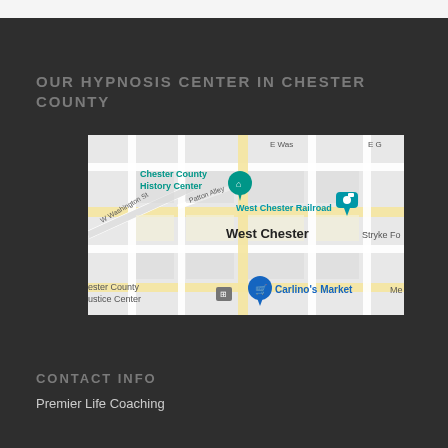OUR HYPNOSIS CENTER IN CHESTER COUNTY
[Figure (map): Google Maps screenshot showing West Chester area with landmarks including Chester County History Center, West Chester Railroad, Carlino's Market, and Chester County Justice Center]
CONTACT INFO
Premier Life Coaching